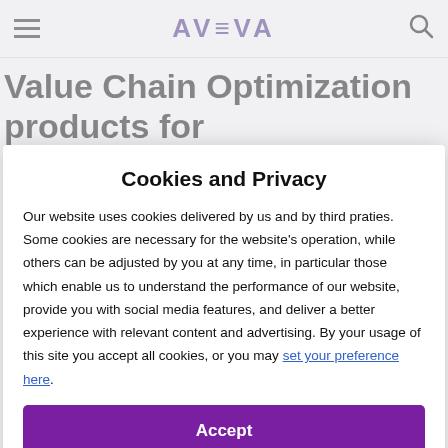AVEVA
Value Chain Optimization products for continuous process industries
Cookies and Privacy
Our website uses cookies delivered by us and by third praties. Some cookies are necessary for the website's operation, while others can be adjusted by you at any time, in particular those which enable us to understand the performance of our website, provide you with social media features, and deliver a better experience with relevant content and advertising. By your usage of this site you accept all cookies, or you may set your preference here.
Accept
Decline All
Privacy Policy
Cookie Policy